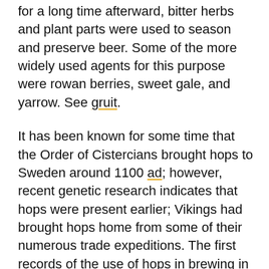for a long time afterward, bitter herbs and plant parts were used to season and preserve beer. Some of the more widely used agents for this purpose were rowan berries, sweet gale, and yarrow. See gruit.
It has been known for some time that the Order of Cistercians brought hops to Sweden around 1100 ad; however, recent genetic research indicates that hops were present earlier; Vikings had brought hops home from some of their numerous trade expeditions. The first records of the use of hops in brewing in Sweden are from the 13th century. In Upplandslagen (the Law of Uppland) from 1296, hops were mentioned among the crops subject to tithe—the peasants were obliged to pay a tenth of their harvest in kind to the church.
As it was in many parts of Europe, beer was the